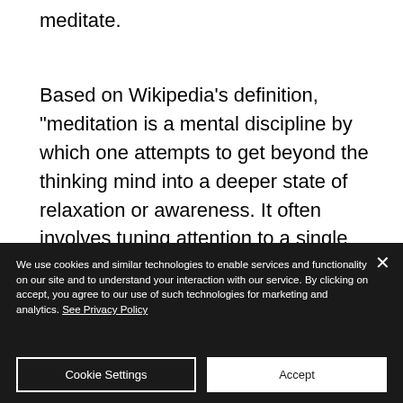meditate.
Based on Wikipedia's definition, "meditation is a mental discipline by which one attempts to get beyond the thinking mind into a deeper state of relaxation or awareness. It often involves tuning attention to a single point of reference."
We use cookies and similar technologies to enable services and functionality on our site and to understand your interaction with our service. By clicking on accept, you agree to our use of such technologies for marketing and analytics. See Privacy Policy
Cookie Settings
Accept